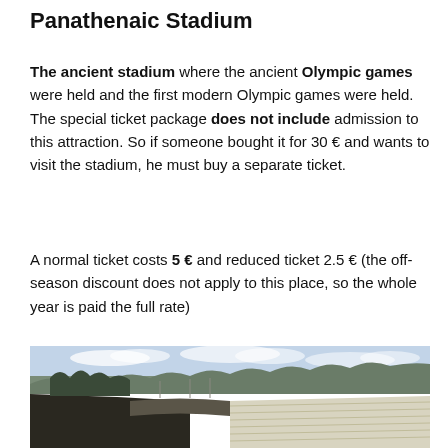Panathenaic Stadium
The ancient stadium where the ancient Olympic games were held and the first modern Olympic games were held. The special ticket package does not include admission to this attraction. So if someone bought it for 30 € and wants to visit the stadium, he must buy a separate ticket.
A normal ticket costs 5 € and reduced ticket 2.5 € (the off-season discount does not apply to this place, so the whole year is paid the full rate)
[Figure (photo): Panoramic view of the Panathenaic Stadium in Athens, showing the marble seating tiers, surrounding trees and hills, and a partly cloudy sky]